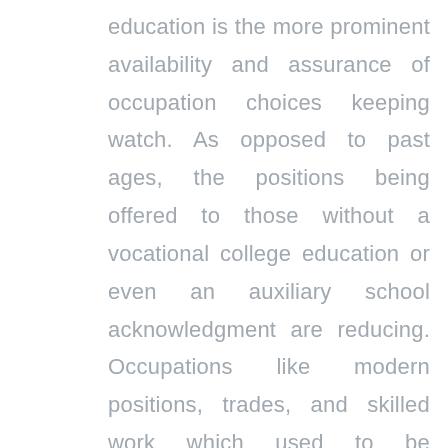education is the more prominent availability and assurance of occupation choices keeping watch. As opposed to past ages, the positions being offered to those without a vocational college education or even an auxiliary school acknowledgment are reducing. Occupations like modern positions, trades, and skilled work which used to be unavoidable before computerization are as of now starting now not open in a significant scale as these are as of now superseded by the speedier and more